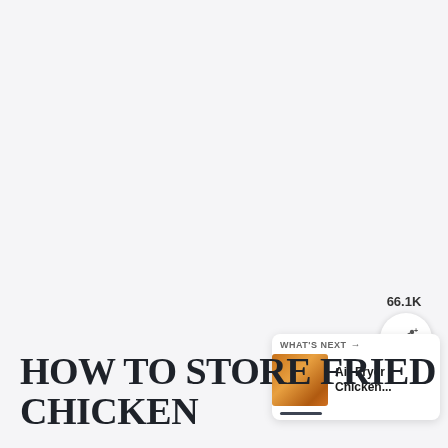HOW TO STORE FRIED CHICKEN
[Figure (infographic): Heart/like button icon (dark circle with white heart) showing 66.1K likes, and a share button (white circle with share icon)]
[Figure (infographic): WHAT'S NEXT card showing Air Fryer Chicken... with a thumbnail image of fried chicken]